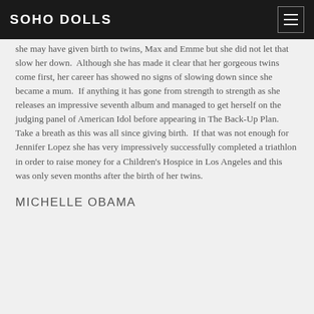SOHO DOLLS
she may have given birth to twins, Max and Emme but she did not let that slow her down.  Although she has made it clear that her gorgeous twins come first, her career has showed no signs of slowing down since she became a mum.  If anything it has gone from strength to strength as she releases an impressive seventh album and managed to get herself on the judging panel of American Idol before appearing in The Back-Up Plan.  Take a breath as this was all since giving birth.  If that was not enough for Jennifer Lopez she has very impressively successfully completed a triathlon in order to raise money for a Children's Hospice in Los Angeles and this was only seven months after the birth of her twins.
MICHELLE OBAMA